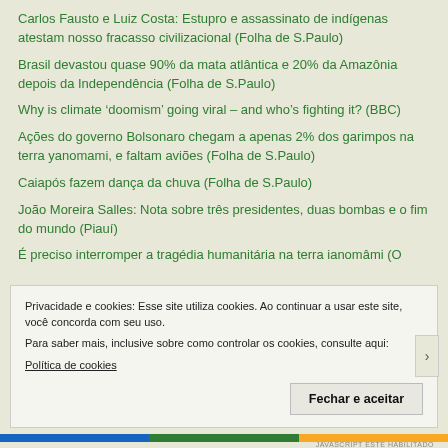Carlos Fausto e Luiz Costa: Estupro e assassinato de indígenas atestam nosso fracasso civilizacional (Folha de S.Paulo)
Brasil devastou quase 90% da mata atlântica e 20% da Amazônia depois da Independência (Folha de S.Paulo)
Why is climate ‘doomism’ going viral – and who’s fighting it? (BBC)
Ações do governo Bolsonaro chegam a apenas 2% dos garimpos na terra yanomami, e faltam aviões (Folha de S.Paulo)
Caiapós fazem dança da chuva (Folha de S.Paulo)
João Moreira Salles: Nota sobre três presidentes, duas bombas e o fim do mundo (Piauí)
É preciso interromper a tragédia humanitária na terra ianomâmi (O
Privacidade e cookies: Esse site utiliza cookies. Ao continuar a usar este site, você concorda com seu uso.
Para saber mais, inclusive sobre como controlar os cookies, consulte aqui:
Política de cookies
Fechar e aceitar